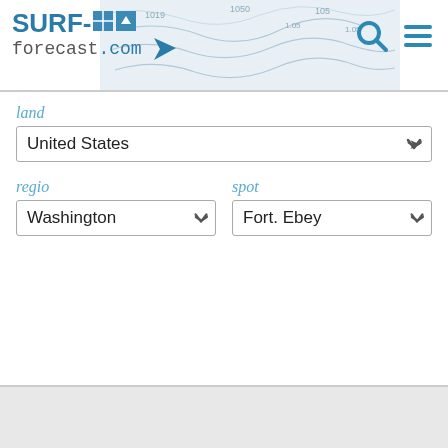[Figure (screenshot): Surf-forecast.com website header with logo, topographic map background, search icon, and hamburger menu icon]
land
United States
regio
Washington
spot
Fort. Ebey